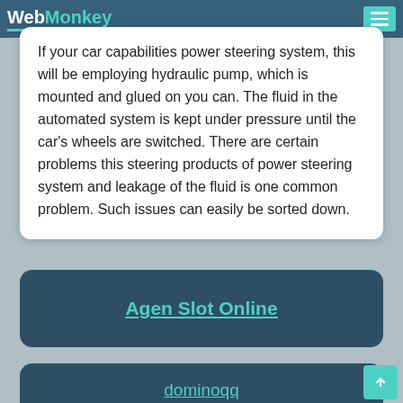WebMonkey
If your car capabilities power steering system, this will be employing hydraulic pump, which is mounted and glued on you can. The fluid in the automated system is kept under pressure until the car's wheels are switched. There are certain problems this steering products of power steering system and leakage of the fluid is one common problem. Such issues can easily be sorted down.
Agen Slot Online
dominoqq